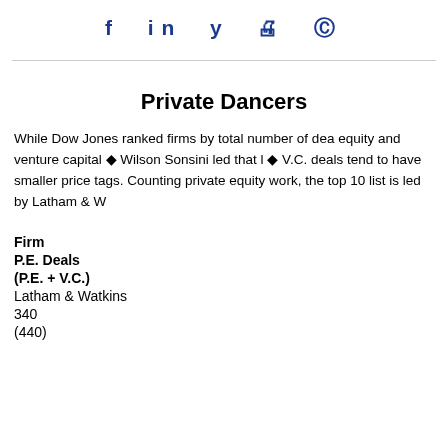f in ✓ ⊟ ©
Private Dancers
While Dow Jones ranked firms by total number of dea equity and venture capital ◆ Wilson Sonsini led that l ◆ V.C. deals tend to have smaller price tags. Counting private equity work, the top 10 list is led by Latham & W
| Firm | P.E. Deals | (P.E. + V.C.) |
| --- | --- | --- |
| Latham & Watkins | 340 | (440) |